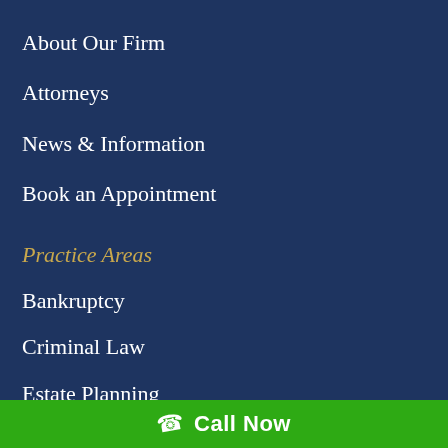About Our Firm
Attorneys
News & Information
Book an Appointment
Practice Areas
Bankruptcy
Criminal Law
Estate Planning
Litigation
Real Estate
Tax Law
Call Now